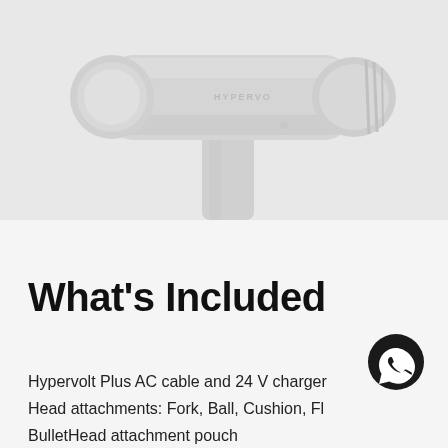[Figure (photo): Close-up photo of a white Hypervolt Plus massage gun, showing the head attachment and body of the device against a light gray background.]
What’s Included
Hypervolt Plus AC cable and 24 V charger
Head attachments: Fork, Ball, Cushion, Flat, BulletHead attachment pouch